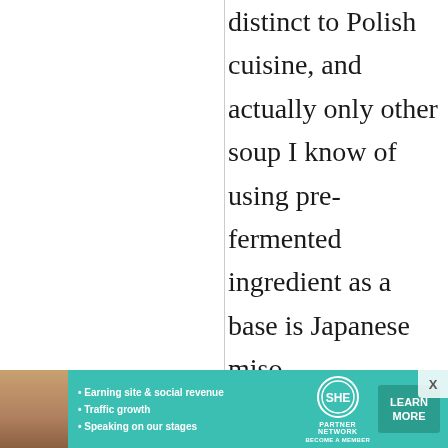distinct to Polish cuisine, and actually only other soup I know of using pre-fermented ingredient as a base is Japanese miso.

Btw, did you
[Figure (infographic): Advertisement banner for SHE Partner Network featuring a woman's photo, bullet points about earning site & social revenue, traffic growth, speaking on our stages, SHE logo, and a Learn More button]